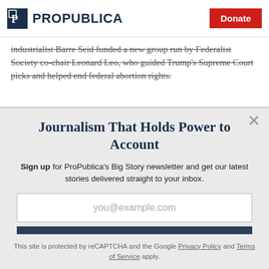ProPublica | Donate
industrialist Barre Seid funded a new group run by Federalist Society co-chair Leonard Leo, who guided Trump's Supreme Court picks and helped end federal abortion rights.
Journalism That Holds Power to Account
Sign up for ProPublica's Big Story newsletter and get our latest stories delivered straight to your inbox.
you@example.com
Get the Newsletter
No thanks, I'm all set
This site is protected by reCAPTCHA and the Google Privacy Policy and Terms of Service apply.